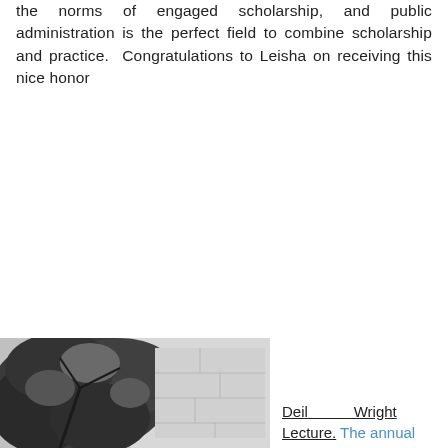the norms of engaged scholarship, and public administration is the perfect field to combine scholarship and practice.  Congratulations to Leisha on receiving this nice honor
[Figure (photo): Black and white photograph showing leafy tree branches and foliage against a light background, possibly outdoors near a building.]
Deil Wright Lecture. The annual